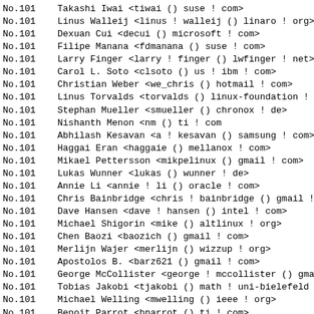No.101    Takashi Iwai <tiwai () suse ! com>
No.101    Linus Walleij <linus ! walleij () linaro ! org>
No.101    Dexuan Cui <decui () microsoft ! com>
No.101    Filipe Manana <fdmanana () suse ! com>
No.101    Larry Finger <larry ! finger () lwfinger ! net>
No.101    Carol L. Soto <clsoto () us ! ibm ! com>
No.101    Christian Weber <we_chris () hotmail ! com>
No.101    Linus Torvalds <torvalds () linux-foundation ! o
No.101    Stephan Mueller <smueller () chronox ! de>
No.101    Nishanth Menon <nm () ti ! com
No.101    Abhilash Kesavan <a ! kesavan () samsung ! com>
No.101    Haggai Eran <haggaie () mellanox ! com>
No.101    Mikael Pettersson <mikpelinux () gmail ! com>
No.101    Lukas Wunner <lukas () wunner ! de>
No.101    Annie Li <annie ! li () oracle ! com>
No.101    Chris Bainbridge <chris ! bainbridge () gmail !
No.101    Dave Hansen <dave ! hansen () intel ! com>
No.101    Michael Shigorin <mike () altlinux ! org>
No.101    Chen Baozi <baozich () gmail ! com>
No.101    Merlijn Wajer <merlijn () wizzup ! org>
No.101    Apostolos B. <barz621 () gmail ! com>
No.101    George McCollister <george ! mccollister () gmai
No.101    Tobias Jakobi <tjakobi () math ! uni-bielefeld
No.101    Michael Welling <mwelling () ieee ! org>
No.101    Benoit Parrot <bparrot () ti ! com>
No.101    Christian Schaller <cschalle () redhat ! com>
No.101    Paul Martin <paul ! martin () codethink ! co ! u
No.101    Ezequiel Garcia <ezequiel ! garcia () imgtec ! c
No.101    Trevor Cordes <trevor () tecnopolis ! ca>
No.101    Bartlomiej Zolnierkiewicz <bzolnier () gmail ! c